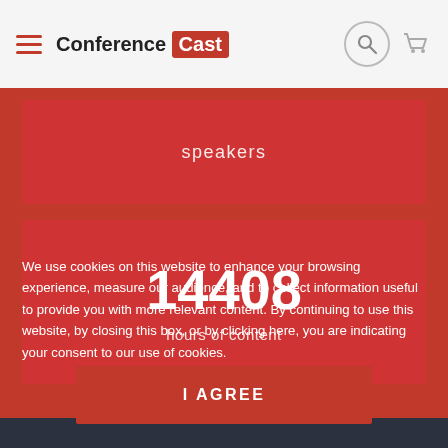Conference Cast
speakers
14408
hours of content
We use cookies on this website to enhance your browsing experience, measure our audience, and to collect information useful to provide you with more relevant content. By continuing to use this website, by closing this box, or by clicking here, you are indicating your consent to our use of cookies.
I AGREE